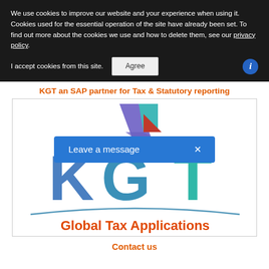We use cookies to improve our website and your experience when using it. Cookies used for the essential operation of the site have already been set. To find out more about the cookies we use and how to delete them, see our privacy policy.
I accept cookies from this site. Agree
KGT an SAP partner for Tax & Statutory reporting
[Figure (logo): KGT Global Tax Applications logo with geometric K mark in purple, teal and red, large KGT letters in blue-teal gradient, arc swoosh, and 'Global Tax Applications' text in red. Overlaid with a blue 'Leave a message x' chat widget.]
Contact us